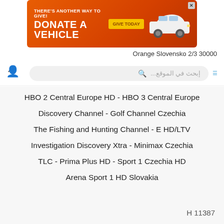[Figure (infographic): Orange advertisement banner: 'THERE'S ANOTHER WAY TO GIVE! DONATE A VEHICLE GIVE TODAY' with a white car image and close button]
Orange Slovensko 2/3 30000
إبحث في الموقع...
HBO 2 Central Europe HD - HBO 3 Central Europe
Discovery Channel - Golf Channel Czechia
The Fishing and Hunting Channel - E HD/LTV
Investigation Discovery Xtra - Minimax Czechia
TLC - Prima Plus HD - Sport 1 Czechia HD
Arena Sport 1 HD Slovakia
H 11387